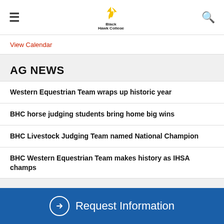Black Hawk College — navigation bar with hamburger menu, logo, and search icon
View Calendar
AG NEWS
Western Equestrian Team wraps up historic year
BHC horse judging students bring home big wins
BHC Livestock Judging Team named National Champion
BHC Western Equestrian Team makes history as IHSA champs
→ Request Information